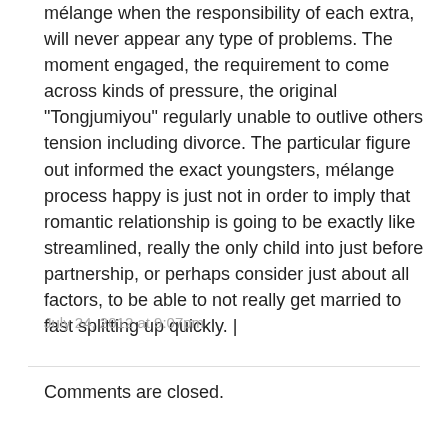mélange when the responsibility of each extra, will never appear any type of problems. The moment engaged, the requirement to come across kinds of pressure, the original “Tongjumiyou” regularly unable to outlive others tension including divorce. The particular figure out informed the exact youngsters, mélange process happy is just not in order to imply that romantic relationship is going to be exactly like streamlined, really the only child into just before partnership, or perhaps consider just about all factors, to be able to not really get married to fast splitting up quickly. |
July 24, 2012 at 9:07pm
Comments are closed.